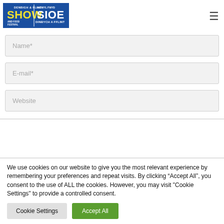[Figure (logo): Denbigh & Flint Show and Food Festival / Sioe Dinbych a Fflint logo — yellow and white text on blue background]
Name*
E-mail*
Website
We use cookies on our website to give you the most relevant experience by remembering your preferences and repeat visits. By clicking “Accept All”, you consent to the use of ALL the cookies. However, you may visit "Cookie Settings" to provide a controlled consent.
Cookie Settings
Accept All